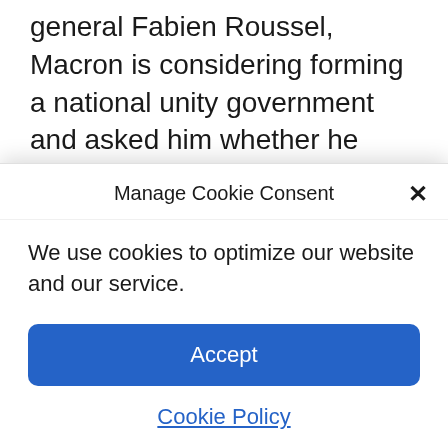general Fabien Roussel, Macron is considering forming a national unity government and asked him whether he would participate.

“It is not something that shocks us – to participate with others to rebuild France – but it all depends on the project,” Roussel told Cl…
Manage Cookie Consent
We use cookies to optimize our website and our service.
Accept
Cookie Policy